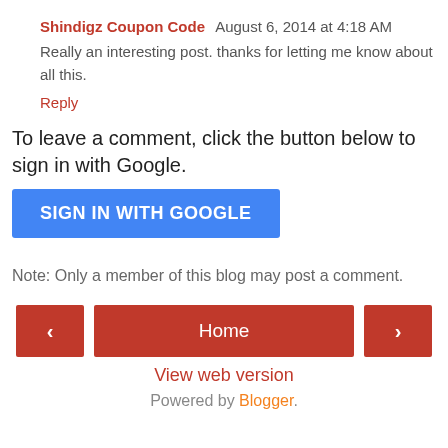Shindigz Coupon Code  August 6, 2014 at 4:18 AM
Really an interesting post. thanks for letting me know about all this.
Reply
To leave a comment, click the button below to sign in with Google.
[Figure (other): Blue SIGN IN WITH GOOGLE button]
Note: Only a member of this blog may post a comment.
< Home > View web version Powered by Blogger.